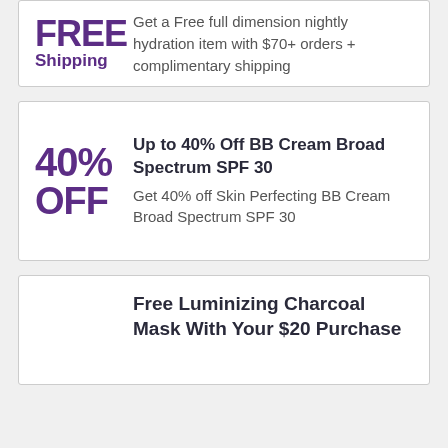FREE Shipping
Get a Free full dimension nightly hydration item with $70+ orders + complimentary shipping
40% OFF
Up to 40% Off BB Cream Broad Spectrum SPF 30
Get 40% off Skin Perfecting BB Cream Broad Spectrum SPF 30
Free Luminizing Charcoal Mask With Your $20 Purchase